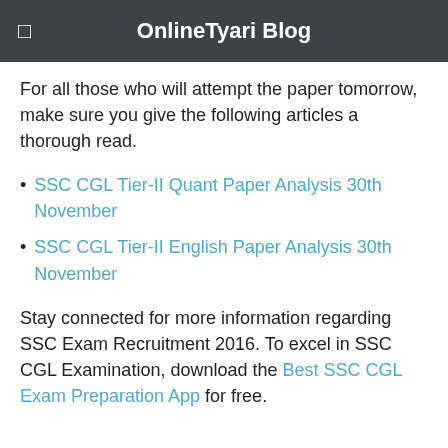OnlineTyari Blog
For all those who will attempt the paper tomorrow, make sure you give the following articles a thorough read.
SSC CGL Tier-II Quant Paper Analysis 30th November
SSC CGL Tier-II English Paper Analysis 30th November
Stay connected for more information regarding SSC Exam Recruitment 2016. To excel in SSC CGL Examination, download the Best SSC CGL Exam Preparation App for free.